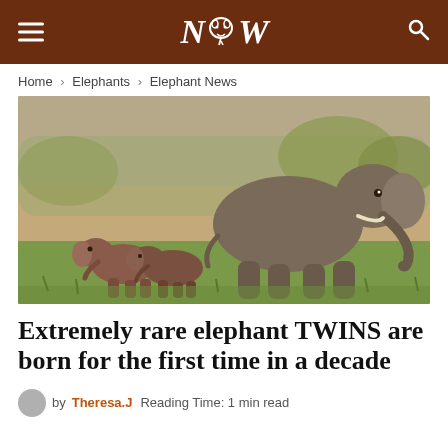NW (logo with elephant icon)
Home > Elephants > Elephant News
[Figure (photo): A mother elephant walking with two small twin elephant calves on a grassy and sandy terrain.]
Extremely rare elephant TWINS are born for the first time in a decade
by Theresa.J   Reading Time: 1 min read